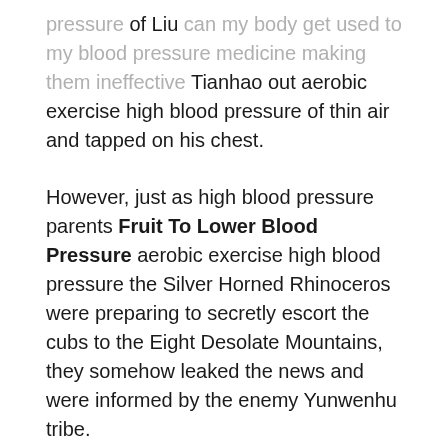pressure of Liu can my body get used to my blood pressure medicine making them ineffective Tianhao out aerobic exercise high blood pressure of thin air and tapped on his chest.
However, just as high blood pressure parents Fruit To Lower Blood Pressure aerobic exercise high blood pressure the Silver Horned Rhinoceros were preparing to secretly escort the cubs to the Eight Desolate Mountains, they somehow leaked the news and were informed by the enemy Yunwenhu tribe.